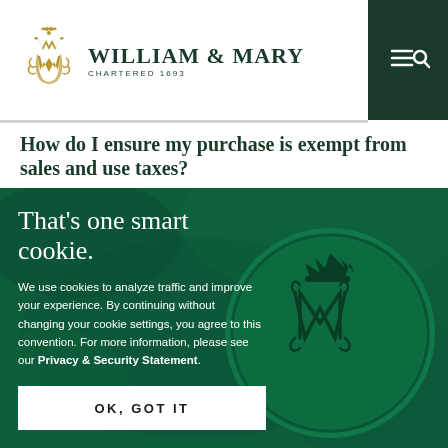[Figure (logo): William & Mary university logo with golden monogram crest and text 'William & Mary Chartered 1693' on white background, with dark green navigation bar on right showing hamburger menu and search icon]
How do I ensure my purchase is exempt from sales and use taxes?
[Figure (photo): Dark green background with a wax seal bearing the William & Mary royal monogram (W&M with crown) in the center-right. Cookie consent overlay on a green-tinted background.]
That’s one smart cookie.
We use cookies to analyze traffic and improve your experience. By continuing without changing your cookie settings, you agree to this convention. For more information, please see our Privacy & Security Statement.
OK, GOT IT